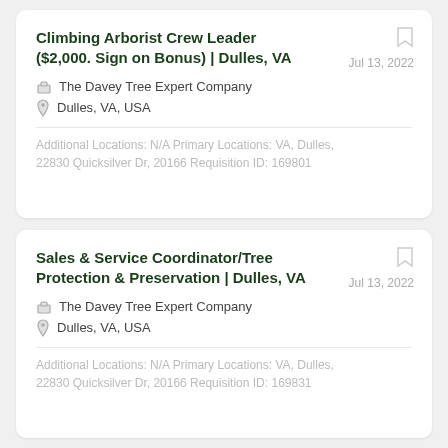Climbing Arborist Crew Leader ($2,000. Sign on Bonus) | Dulles, VA
The Davey Tree Expert Company
Dulles, VA, USA
Jul 13, 2022
Additional Locations: N/A Primary Locations: VA, Dulles, 22830 Quicksilver Dr, 20166 Requisition ID: 169801
Sales & Service Coordinator/Tree Protection & Preservation | Dulles, VA
The Davey Tree Expert Company
Dulles, VA, USA
Jul 13, 2022
Additional Locations: N/A Primary Locations: VA, Dulles, 22830 Quicksilver Dr, 20166 Requisition ID: 169831